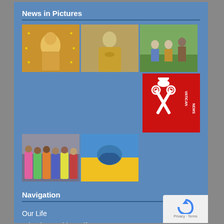News in Pictures
[Figure (photo): Photo collage of religious and news images: two Mary/Madonna statues, group of people outdoors, Vatican News logo, group of women in colorful garments, Ukraine flag with clasped hands]
Navigation
Our Life
What is an Oblate Life?
Video Reflections
Priests and Brothers
Our Founder and Oblate History
[Figure (logo): Google reCAPTCHA badge with Privacy and Terms links]